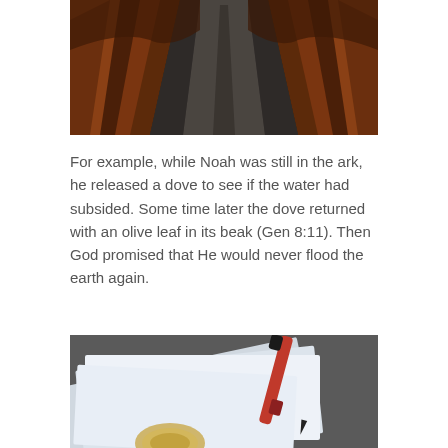[Figure (photo): A dark country road or path receding into the distance, flanked on both sides by tall reddish-brown autumn foliage/grasses, viewed from a low perspective giving a dramatic vanishing point effect.]
For example, while Noah was still in the ark, he released a dove to see if the water had subsided. Some time later the dove returned with an olive leaf in its beak (Gen 8:11). Then God promised that He would never flood the earth again.
[Figure (photo): Several white sheets of paper fanned out on a dark gray surface, with a red and black pen resting on them and what appears to be a compass or medal partially visible at the bottom.]